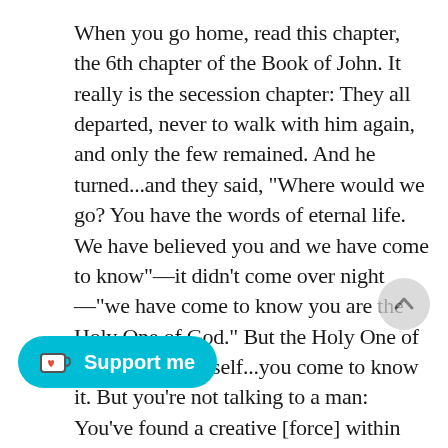When you go home, read this chapter, the 6th chapter of the Book of John. It really is the secession chapter: They all departed, never to walk with him again, and only the few remained. And he turned...and they said, “Where would we go? You have the words of eternal life. We have believed you and we have come to know”—it didn’t come over night—“we have come to know you are the Holy One of God.” But the Holy One of God is God himself...you come to know it. But you’re not talking to a man: You’ve found a creative [force] within yourself. And although the world will try to make you feel that
[Figure (other): Scroll-up circular button (grey circle with upward arrow)]
[Figure (other): Support me button - cyan/teal rounded pill button with Ko-fi cup icon and heart, labeled 'Support me']